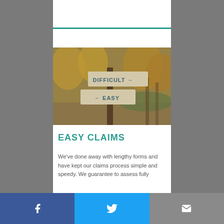[Figure (photo): Road sign with two wooden arrow signs on a post in an autumn park. Upper sign reads 'DIFFICULT →' and lower sign reads '← EASY' in teal/blue letters.]
EASY CLAIMS
We've done away with lengthy forms and have kept our claims process simple and speedy. We guarantee to assess fully